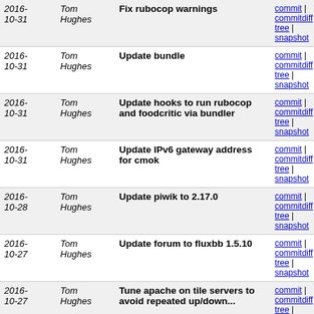| Date | Author | Message | Links |
| --- | --- | --- | --- |
| 2016-10-31 | Tom Hughes | Fix rubocop warnings | commit | commitdiff | tree | snapshot |
| 2016-10-31 | Tom Hughes | Update bundle | commit | commitdiff | tree | snapshot |
| 2016-10-31 | Tom Hughes | Update hooks to run rubocop and foodcritic via bundler | commit | commitdiff | tree | snapshot |
| 2016-10-31 | Tom Hughes | Update IPv6 gateway address for cmok | commit | commitdiff | tree | snapshot |
| 2016-10-28 | Tom Hughes | Update piwik to 2.17.0 | commit | commitdiff | tree | snapshot |
| 2016-10-27 | Tom Hughes | Update forum to fluxbb 1.5.10 | commit | commitdiff | tree | snapshot |
| 2016-10-27 | Tom Hughes | Tune apache on tile servers to avoid repeated up/down... | commit | commitdiff | tree | snapshot |
| 2016-10-27 | Tom Hughes | Certificates are now file resources | commit | commitdiff | tree | snapshot |
| 2016-10-27 | Tom Hughes | Add tests for the forum cookbook | commit | commitdiff | tree | snapshot |
| 2016-10-27 | Tom Hughes | Add self-signed SSL certificates and keys for testing | commit | commitdiff | tree | snapshot |
| 2016- | Tom | Move SSL certificates to private | commit | |